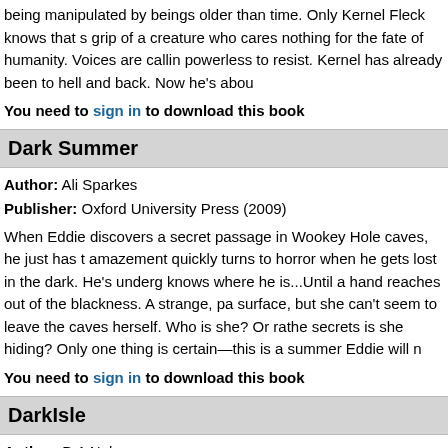being manipulated by beings older than time. Only Kernel Fleck knows that s grip of a creature who cares nothing for the fate of humanity. Voices are callin powerless to resist. Kernel has already been to hell and back. Now he's abou
You need to sign in to download this book
Dark Summer
Author: Ali Sparkes
Publisher: Oxford University Press (2009)
When Eddie discovers a secret passage in Wookey Hole caves, he just has t amazement quickly turns to horror when he gets lost in the dark. He's underg knows where he is...Until a hand reaches out of the blackness. A strange, pa surface, but she can't seem to leave the caves herself. Who is she? Or rathe secrets is she hiding? Only one thing is certain—this is a summer Eddie will n
You need to sign in to download this book
DarkIsle
Author: D A Nelson
Part of a series: DarkIsle